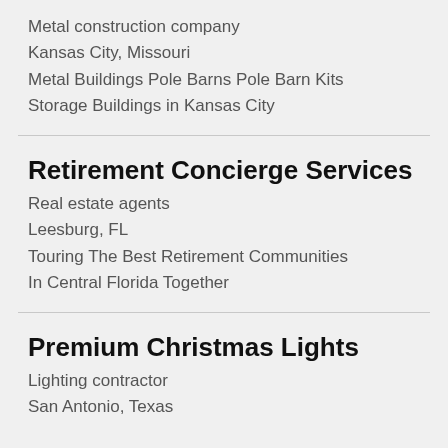Metal construction company
Kansas City, Missouri
Metal Buildings Pole Barns Pole Barn Kits Storage Buildings in Kansas City
Retirement Concierge Services
Real estate agents
Leesburg, FL
Touring The Best Retirement Communities In Central Florida Together
Premium Christmas Lights
Lighting contractor
San Antonio, Texas